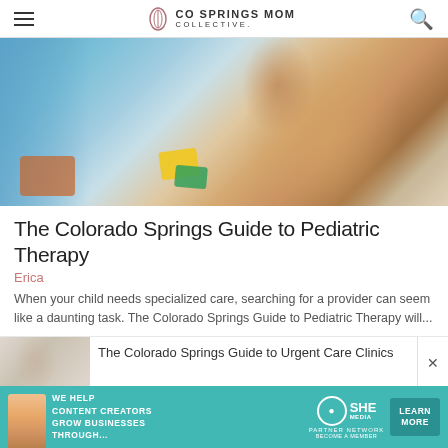CO SPRINGS MOM COLLECTIVE
[Figure (photo): A young Asian toddler girl playing with colorful building blocks, looking focused. Adult figures partially visible on the left side. Bright, blurred background.]
The Colorado Springs Guide to Pediatric Therapy
Erica
When your child needs specialized care, searching for a provider can seem like a daunting task. The Colorado Springs Guide to Pediatric Therapy will...
The Colorado Springs Guide to Urgent Care Clinics
[Figure (infographic): Advertisement banner for SHE Media Partner Network with teal background: 'WE HELP CONTENT CREATORS GROW BUSINESSES THROUGH...' with a LEARN MORE button.]